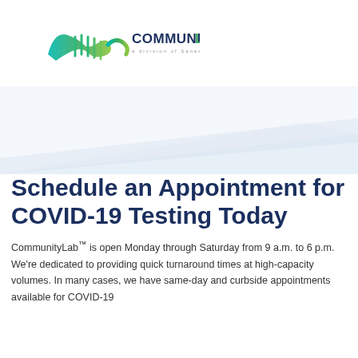[Figure (logo): CommunityLab logo — DNA helix icon in teal-to-green gradient with brand name 'COMMUNITYLAB' in dark navy bold and subtitle 'a division of Sanesco Health' in gray spaced letters]
[Figure (illustration): Light blue decorative wave/triangle shape forming a banner background]
Schedule an Appointment for COVID-19 Testing Today
CommunityLab™ is open Monday through Saturday from 9 a.m. to 6 p.m. We're dedicated to providing quick turnaround times at high-capacity volumes. In many cases, we have same-day and curbside appointments available for COVID-19